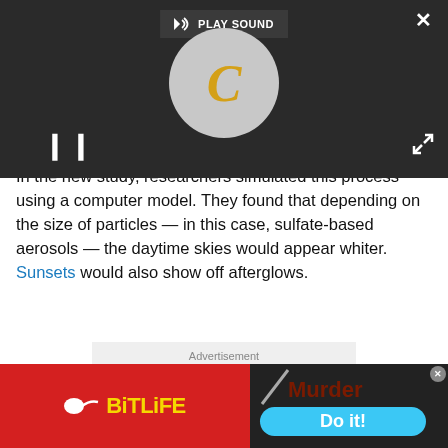[Figure (screenshot): Video player overlay with dark background showing a circular logo with a 'C' letter in gold, pause button, play sound bar, and close/expand buttons]
In the new study, researchers simulated this process using a computer model. They found that depending on the size of particles — in this case, sulfate-based aerosols — the daytime skies would appear whiter. Sunsets would also show off afterglows.
[Figure (other): Advertisement placeholder box with light gray background and 'Advertisement' label]
[Figure (other): Bottom banner advertisement showing BitLife app (red background, yellow text, sperm icon) and Murder / Do it! game ad (dark background with blue button)]